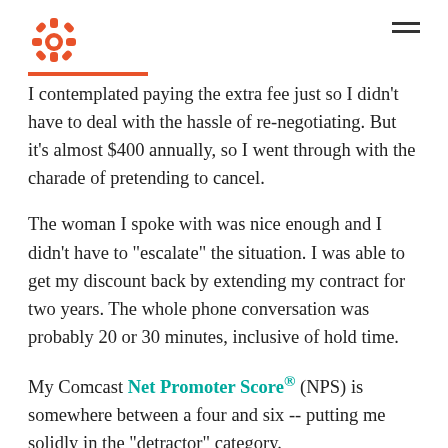HubSpot logo and navigation
I contemplated paying the extra fee just so I didn't have to deal with the hassle of re-negotiating. But it's almost $400 annually, so I went through with the charade of pretending to cancel.
The woman I spoke with was nice enough and I didn't have to "escalate" the situation. I was able to get my discount back by extending my contract for two years. The whole phone conversation was probably 20 or 30 minutes, inclusive of hold time.
My Comcast Net Promoter Score® (NPS) is somewhere between a four and six -- putting me solidly in the "detractor" category.
It was coincidental timing but I also got an email